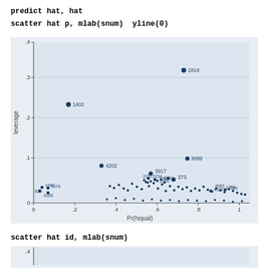predict hat, hat
scatter hat p, mlab(snum)  yline(0)
[Figure (continuous-plot): Scatter plot of leverage (hat) vs Pr(hiqual) with labeled outlier points including 1819 (~0.33 leverage, ~0.73 x), 1402 (~0.245, ~0.17), 3099 (~0.11, ~0.75), 4202 (~0.093, ~0.33), 3917 (~0.073, ~0.57), 373 (~0.058, ~0.68), and many clustered points near zero leverage across the full x range.]
scatter hat id, mlab(snum)
[Figure (continuous-plot): Partial view of scatter plot of leverage (hat) vs id, showing only top portion with y-axis starting around 0.4]